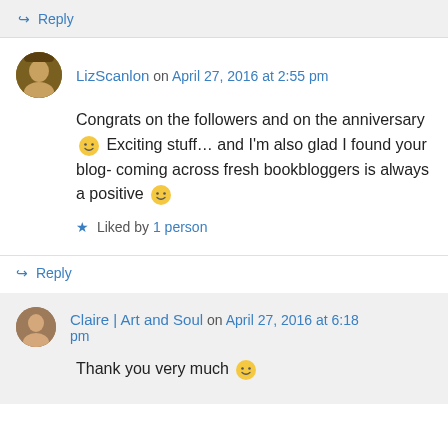↪ Reply
LizScanlon on April 27, 2016 at 2:55 pm
Congrats on the followers and on the anniversary 🙂 Exciting stuff… and I'm also glad I found your blog- coming across fresh bookbloggers is always a positive 🙂
★ Liked by 1 person
↪ Reply
Claire | Art and Soul on April 27, 2016 at 6:18 pm
Thank you very much 🙂